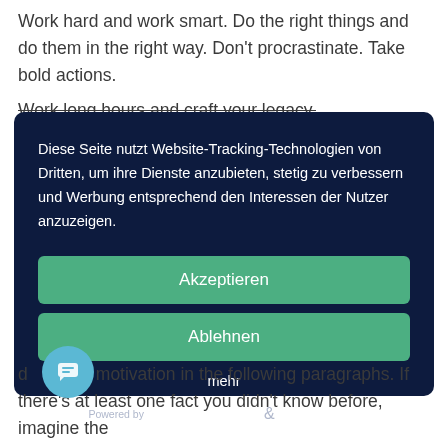Work hard and work smart. Do the right things and do them in the right way. Don't procrastinate. Take bold actions.
Work long hours and craft your legacy.
[Figure (screenshot): Cookie consent modal dialog with dark navy background. Contains German text about website tracking technologies, two green buttons labeled 'Akzeptieren' and 'Ablehnen', a 'mehr' link, and a footer with 'Powered by usercentrics & eRecht24' logos.]
Diese Seite nutzt Website-Tracking-Technologien von Dritten, um ihre Dienste anzubieten, stetig zu verbessern und Werbung entsprechend den Interessen der Nutzer anzuzeigen.
Akzeptieren
Ablehnen
mehr
Powered by usercentrics & eRecht24
d motivation in the following paragraphs. If there's at least one fact you didn't know before, imagine the